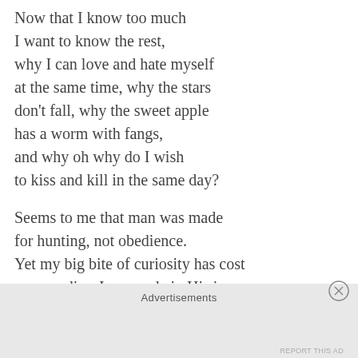Now that I know too much
I want to know the rest,
why I can love and hate myself
at the same time, why the stars
don't fall, why the sweet apple
has a worm with fangs,
and why oh why do I wish
to kiss and kill in the same day?
Seems to me that man was made
for hunting, not obedience.
Yet my big bite of curiosity has cost
me paradise. I am made in His image
but sin if I seek to be Him.
Then I should not strive to be as good
as He who banishes His creations
to suffer in the imperfect world He made.
Advertisements